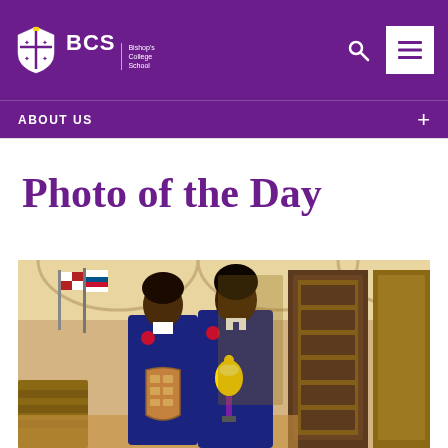BCS Bishop's College School
ABOUT US
Photo of the Day
[Figure (photo): Two female students in navy blazers standing indoors in a chapel/hall setting. The student on the left holds a large wooden shield award and the student on the right holds a trophy. Both are smiling. The background shows wooden pews, arched ceilings, and decorative wooden panels.]